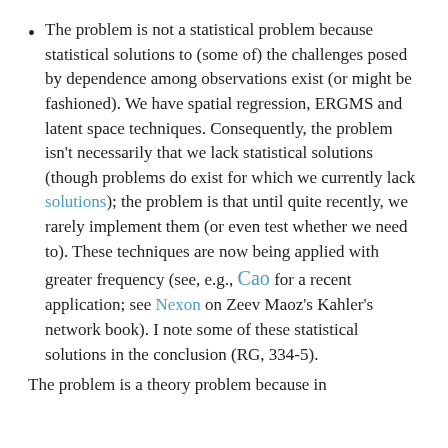The problem is not a statistical problem because statistical solutions to (some of) the challenges posed by dependence among observations exist (or might be fashioned). We have spatial regression, ERGMS and latent space techniques. Consequently, the problem isn't necessarily that we lack statistical solutions (though problems do exist for which we currently lack solutions); the problem is that until quite recently, we rarely implement them (or even test whether we need to). These techniques are now being applied with greater frequency (see, e.g., Cao for a recent application; see Nexon on Zeev Maoz's Kahler's network book). I note some of these statistical solutions in the conclusion (RG, 334-5).
The problem is a theory problem because in...